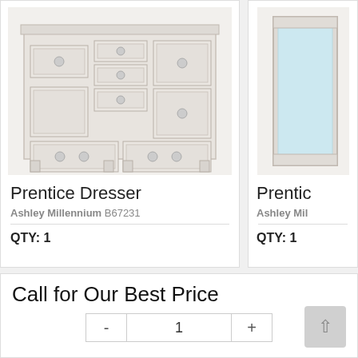[Figure (photo): White Prentice Dresser with multiple drawers, doors, and decorative hardware]
Prentice Dresser
Ashley Millennium B67231
QTY: 1
[Figure (photo): Partial view of a white Prentice mirror with slim frame]
Prenti...
Ashley Mil...
QTY: 1
Call for Our Best Price
- 1 +